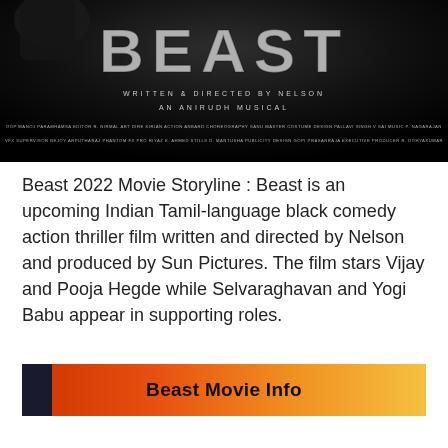[Figure (photo): Movie poster for Beast (2022) — dark background with large distressed 'BEAST' title text, subtitle 'Written & Directed by Nelson', 'An Anirudh Musical', and small production credits below.]
Beast 2022 Movie Storyline : Beast is an upcoming Indian Tamil-language black comedy action thriller film written and directed by Nelson and produced by Sun Pictures. The film stars Vijay and Pooja Hegde while Selvaraghavan and Yogi Babu appear in supporting roles.
Beast Movie Info